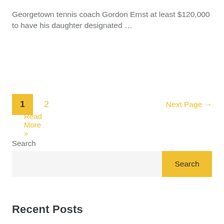Georgetown tennis coach Gordon Ernst at least $120,000 to have his daughter designated …
Read More »
1  2  Next Page →
Search
Search
Recent Posts